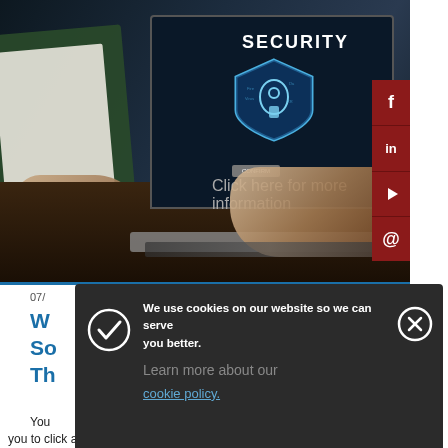[Figure (photo): Person typing on a laptop with a security shield graphic on the screen displaying the word SECURITY, with another person holding a book in the background. Social media icons (Facebook, LinkedIn, YouTube, email) visible on right sidebar.]
07/
W
So
Th
You
you to click a link to change your password due to suspicious
[Figure (infographic): Cookie consent banner with dark background. Text reads: 'We use cookies on our website so we can serve you better. Learn more about our cookie policy.' With a checkmark icon on the left and close (X) button on the right.]